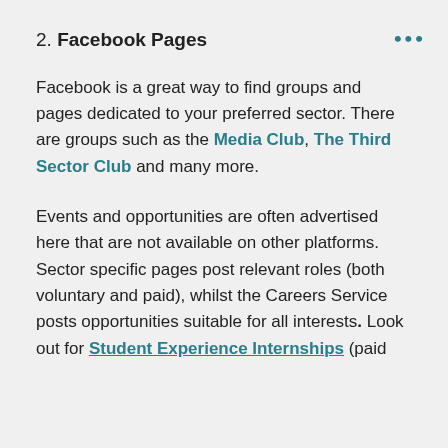2. Facebook Pages
Facebook is a great way to find groups and pages dedicated to your preferred sector. There are groups such as the Media Club, The Third Sector Club and many more.
Events and opportunities are often advertised here that are not available on other platforms. Sector specific pages post relevant roles (both voluntary and paid), whilst the Careers Service posts opportunities suitable for all interests. Look out for Student Experience Internships (paid